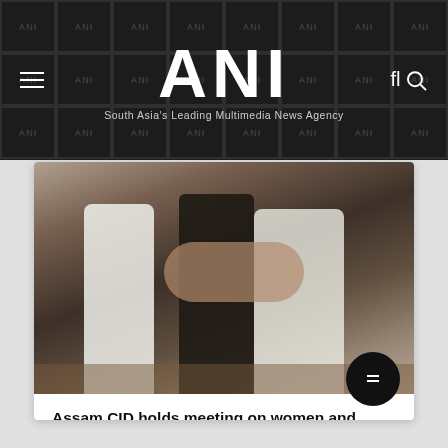ANI – South Asia's Leading Multimedia News Agency
[Figure (photo): People standing close together outdoors, blurred background, appears to be a news/law enforcement scene]
Assam CID holds meeting on women and child safety issues
Updated :  1 month, 1 week ago IST
Guwahati (Assam) [India], July 14 (ANI): A meeting of all stakeholders on women and child safety issues was organised on Thursday by the Criminal Investigation Department, Assam, at the Conference Hall of Assam Police Headquarters, Guwahati.
Read More